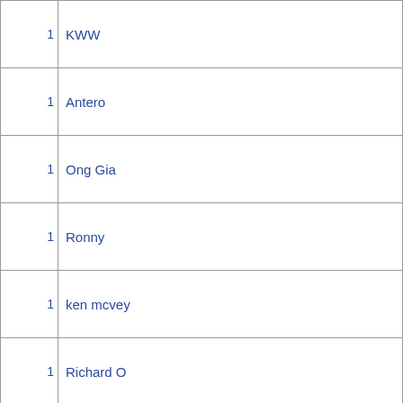| Count | Name |
| --- | --- |
| 1 | KWW |
| 1 | Antero |
| 1 | Ong Gia |
| 1 | Ronny |
| 1 | ken mcvey |
| 1 | Richard O |
|  |  |